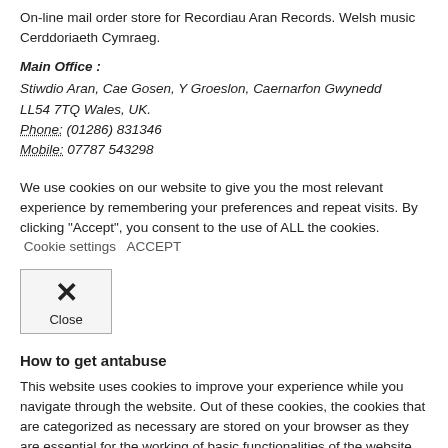On-line mail order store for Recordiau Aran Records. Welsh music Cerddoriaeth Cymraeg.
Main Office :
Stiwdio Aran, Cae Gosen, Y Groeslon, Caernarfon Gwynedd
LL54 7TQ Wales, UK.
Phone: (01286) 831346
Mobile: 07787 543298
We use cookies on our website to give you the most relevant experience by remembering your preferences and repeat visits. By clicking "Accept", you consent to the use of ALL the cookies.
 Cookie settings   ACCEPT
[Figure (other): Close button box with X icon and 'Close' label]
How to get antabuse
This website uses cookies to improve your experience while you navigate through the website. Out of these cookies, the cookies that are categorized as necessary are stored on your browser as they are essential for the working of basic functionalities of the website. We